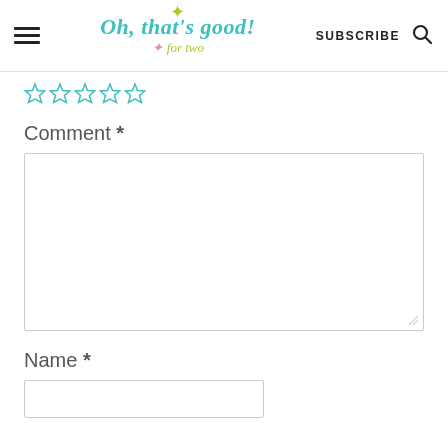Oh, that's good! for two — SUBSCRIBE
[Figure (other): Five teal/cyan star outlines in a rating row]
Comment *
Name *